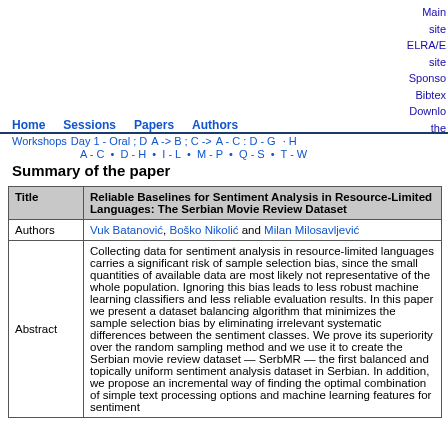Main site
ELRA/E site
Sponso
Bibtex
Downlo
the
Home  Sessions  Papers  Authors
Workshops  Day 1 - Oral ; D  A->B ; C->  A-C ; D-G · H
A-C · D-H · I-L · M-P · Q-S · T-W
Summary of the paper
| Title | Reliable Baselines for Sentiment Analysis in Resource-Limited Languages: The Serbian Movie Review Dataset |
| --- | --- |
| Authors | Vuk Batanović, Boško Nikolić and Milan Milosavljević |
| Abstract | Collecting data for sentiment analysis in resource-limited languages carries a significant risk of sample selection bias, since the small quantities of available data are most likely not representative of the whole population. Ignoring this bias leads to less robust machine learning classifiers and less reliable evaluation results. In this paper we present a dataset balancing algorithm that minimizes the sample selection bias by eliminating irrelevant systematic differences between the sentiment classes. We prove its superiority over the random sampling method and we use it to create the Serbian movie review dataset — SerbMR — the first balanced and topically uniform sentiment analysis dataset in Serbian. In addition, we propose an incremental way of finding the optimal combination of simple text processing options and machine learning features for sentiment |